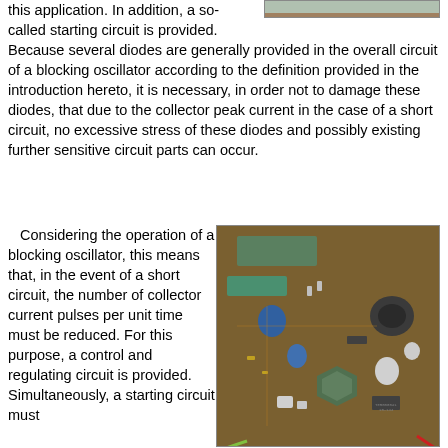this application. In addition, a so-called starting circuit is provided. Because several diodes are generally provided in the overall circuit of a blocking oscillator according to the definition provided in the introduction hereto, it is necessary, in order not to damage these diodes, that due to the collector peak current in the case of a short circuit, no excessive stress of these diodes and possibly existing further sensitive circuit parts can occur.
[Figure (photo): Partial image visible at top right, appears to be a circuit board photo (cropped)]
Considering the operation of a blocking oscillator, this means that, in the event of a short circuit, the number of collector current pulses per unit time must be reduced. For this purpose, a control and regulating circuit is provided. Simultaneously, a starting circuit must
[Figure (photo): Photograph of an electronic circuit board (PCB) with various components including capacitors, inductors, and other electronic parts, viewed from above. The board has a green/yellow color with brown oxidation.]